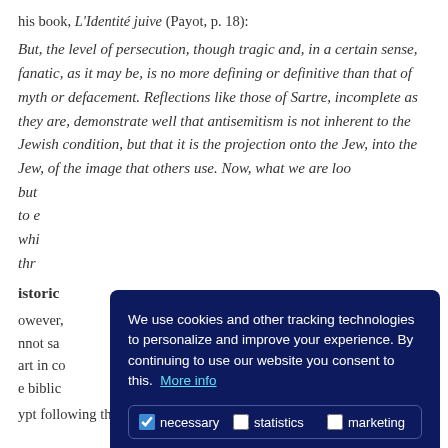his book, L'Identité juive (Payot, p. 18):
But, the level of persecution, though tragic and, in a certain sense, fanatic, as it may be, is no more defining or definitive than that of myth or defacement. Reflections like those of Sartre, incomplete as they are, demonstrate well that antisemitism is not inherent to the Jewish condition, but that it is the projection onto the Jew, into the Jew, of the image that others use. Now, what we are loo... but... to e... whi... thr...
istoric
owever, nnot sa art in co e biblic
ypt following the experience of slavery. We repeat
[Figure (screenshot): Cookie consent modal dialog with dark navy background. Text reads: 'We use cookies and other tracking technologies to personalize and improve your experience. By continuing to use our website you consent to this. More info'. Below is a row of checkboxes: 'necessary' (checked), 'statistics' (unchecked), 'marketing' (unchecked). Two buttons at the bottom: 'decline' (plain text) and 'allow cookies' (cyan/teal filled button).]